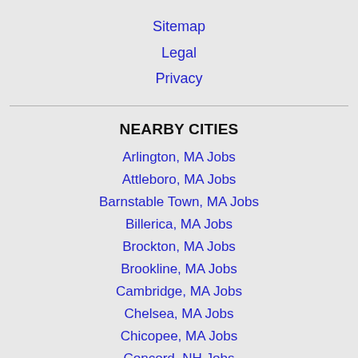Sitemap
Legal
Privacy
NEARBY CITIES
Arlington, MA Jobs
Attleboro, MA Jobs
Barnstable Town, MA Jobs
Billerica, MA Jobs
Brockton, MA Jobs
Brookline, MA Jobs
Cambridge, MA Jobs
Chelsea, MA Jobs
Chicopee, MA Jobs
Concord, NH Jobs
Cranston, RI Jobs
East Hartford, CT Jobs